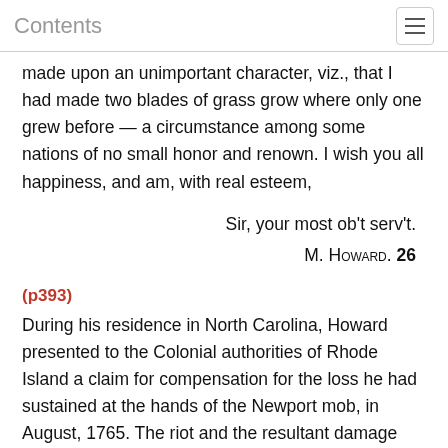Contents
made upon an unimportant character, viz., that I had made two blades of grass grow where only one grew before — a circumstance among some nations of no small honor and renown. I wish you all happiness, and am, with real esteem,
Sir, your most ob't serv't.
M. Howard. 26
(p393)
During his residence in North Carolina, Howard presented to the Colonial authorities of Rhode Island a claim for compensation for the loss he had sustained at the hands of the Newport mob, in August, 1765. The riot and the resultant damage commanded the attention of Governor Ward and the Assembly for